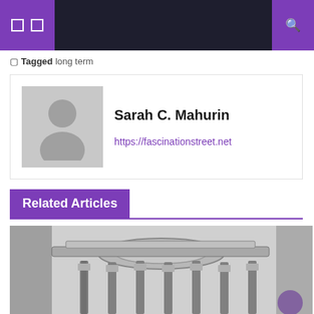Navigation bar with icons and search
☐ Tagged long term
Sarah C. Mahurin
https://fascinationstreet.net
Related Articles
[Figure (photo): Close-up photo of industrial mechanical hardware — threaded bolts, nuts, and metal clamps arranged in a circular pattern, shown in black and white/grayscale]